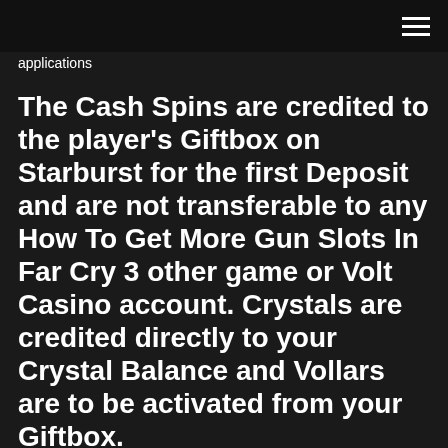applications
The Cash Spins are credited to the player's Giftbox on Starburst for the first Deposit and are not transferable to any How To Get More Gun Slots In Far Cry 3 other game or Volt Casino account. Crystals are credited directly to your Crystal Balance and Vollars are to be activated from your Giftbox.